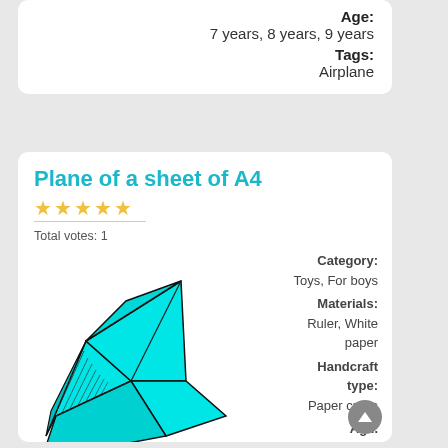Age: 7 years, 8 years, 9 years
Tags: Airplane
Plane of a sheet of A4
★★★★★ (stars rating)
Total votes: 1
[Figure (illustration): Paper airplane illustration in cyan/turquoise color showing folded paper plane shape with black outlines]
Category: Toys, For boys
Materials: Ruler, White paper
Handcraft type: Paper crafts